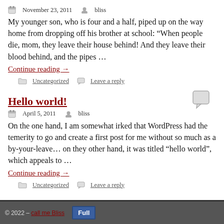November 23, 2011  bliss
My younger son, who is four and a half, piped up on the way home from dropping off his brother at school: “When people die, mom, they leave their house behind! And they leave their blood behind, and the pipes …
Continue reading →
Uncategorized  Leave a reply
Hello world!
April 5, 2011  bliss
On the one hand, I am somewhat irked that WordPress had the temerity to go and create a first post for me without so much as a by-your-leave… on they other hand, it was titled “hello world”, which appeals to …
Continue reading →
Uncategorized  Leave a reply
© 2022 - call me Bliss  Full